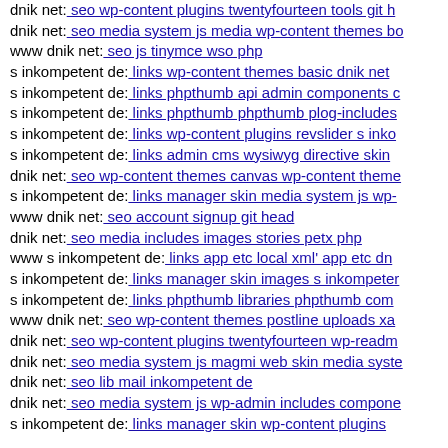dnik net: seo wp-content plugins twentyfourteen tools git h...
dnik net: seo media system js media wp-content themes bo...
www dnik net: seo js tinymce wso php
s inkompetent de: links wp-content themes basic dnik net
s inkompetent de: links phpthumb api admin components c...
s inkompetent de: links phpthumb phpthumb plog-includes...
s inkompetent de: links wp-content plugins revslider s inko...
s inkompetent de: links admin cms wysiwyg directive skin...
dnik net: seo wp-content themes canvas wp-content theme...
s inkompetent de: links manager skin media system js wp-...
www dnik net: seo account signup git head
dnik net: seo media includes images stories petx php
www s inkompetent de: links app etc local xml' app etc dn...
s inkompetent de: links manager skin images s inkompeter...
s inkompetent de: links phpthumb libraries phpthumb com...
www dnik net: seo wp-content themes postline uploads xa...
dnik net: seo wp-content plugins twentyfourteen wp-readm...
dnik net: seo media system js magmi web skin media syste...
dnik net: seo lib mail inkompetent de
dnik net: seo media system js wp-admin includes compone...
s inkompetent de: links manager skin wp-content plugins...